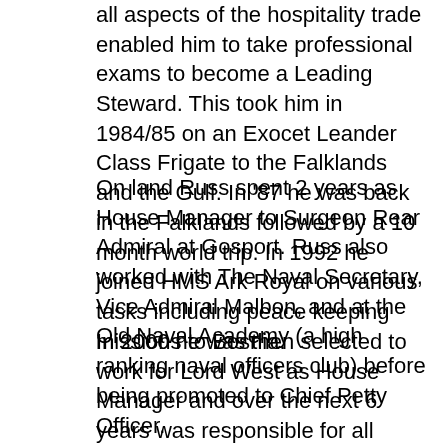all aspects of the hospitality trade enabled him to take professional exams to become a Leading Steward. This took him in 1984/85 on an Exocet Leander Class Frigate to the Falklands and the Gulf. In '87 he was back in the Falklands followed by a 10 month world trip. In 1992 he joined HMS Ark Royal on various tasks including peace keeping missions to Bosnia.
On land Russ spent 2 years as House Manager to Surgeon Rear Admiral at Gosport. Russ also worked with The Naval Secretary, Vice Admiral Malbon, and at the Old Naval Academy (a high ranking naval officers club) before being promoted to Chief Petty Officer.
In 2000 he was then selected to work for Lord West as House Manager and over the next 6 years was responsible for all functions both in residence and Admiralty Arches in Trafalgar Square which hosted Heads of State, Foreign